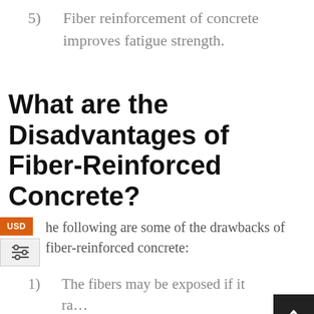5) Fiber reinforcement of concrete improves fatigue strength.
What are the Disadvantages of Fiber-Reinforced Concrete?
The following are some of the drawbacks of fiber-reinforced concrete:
1) The fibers may be exposed if it ra...
2) If the orientation of the fibers in the concrete is not uniform, it might result